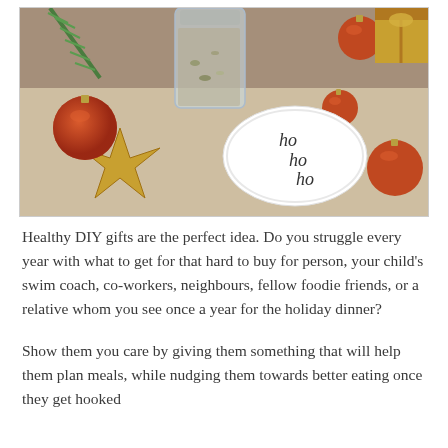[Figure (photo): Christmas holiday photo showing orange ornament balls, a gold star decoration, a glass jar with herbs/spices, green rosemary sprigs, a gold gift box in the corner, and a white scalloped tag with 'ho ho ho' written in cursive, all arranged on a linen fabric background.]
Healthy DIY gifts are the perfect idea. Do you struggle every year with what to get for that hard to buy for person, your child's swim coach, co-workers, neighbours, fellow foodie friends, or a relative whom you see once a year for the holiday dinner?
Show them you care by giving them something that will help them plan meals, while nudging them towards better eating once they get hooked